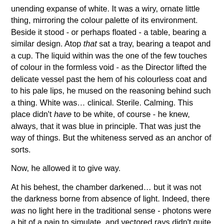unending expanse of white. It was a wiry, ornate little thing, mirroring the colour palette of its environment. Beside it stood - or perhaps floated - a table, bearing a similar design. Atop that sat a tray, bearing a teapot and a cup. The liquid within was the one of the few touches of colour in the formless void - as the Director lifted the delicate vessel past the hem of his colourless coat and to his pale lips, he mused on the reasoning behind such a thing. White was… clinical. Sterile. Calming. This place didn't have to be white, of course - he knew, always, that it was blue in principle. That was just the way of things. But the whiteness served as an anchor of sorts.
Now, he allowed it to give way.
At his behest, the chamber darkened… but it was not the darkness borne from absence of light. Indeed, there was no light here in the traditional sense - photons were a bit of a pain to simulate, and vectored rays didn't quite have the same sort of charm to them, so he went without it. No, here the walls themselves simply became something they hadn't been prior. And that something was, at first glance, the vastness of space - inky black void, speckled with points of light. And yet, were an astronomer to be handed a